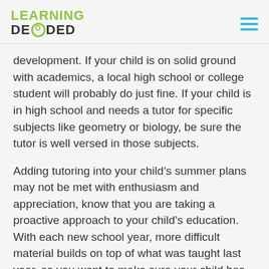LEARNING DECODED
development. If your child is on solid ground with academics, a local high school or college student will probably do just fine. If your child is in high school and needs a tutor for specific subjects like geometry or biology, be sure the tutor is well versed in those subjects.
Adding tutoring into your child’s summer plans may not be met with enthusiasm and appreciation, know that you are taking a proactive approach to your child’s education. With each new school year, more difficult material builds on top of what was taught last year, so you want to make sure your child has mastered the necessary skills in order to succeed down the road.